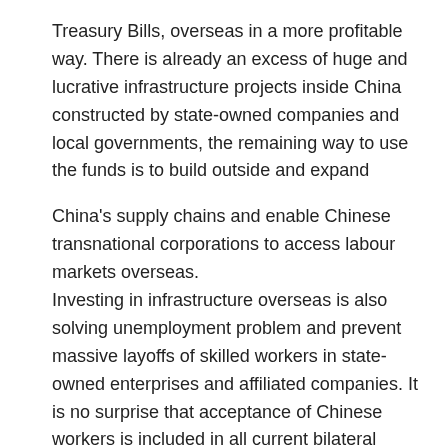Treasury Bills, overseas in a more profitable way. There is already an excess of huge and lucrative infrastructure projects inside China constructed by state-owned companies and local governments, the remaining way to use the funds is to build outside and expand
China's supply chains and enable Chinese transnational corporations to access labour markets overseas. Investing in infrastructure overseas is also solving unemployment problem and prevent massive layoffs of skilled workers in state-owned enterprises and affiliated companies. It is no surprise that acceptance of Chinese workers is included in all current bilateral infrastructure investment deals that China is negotiating